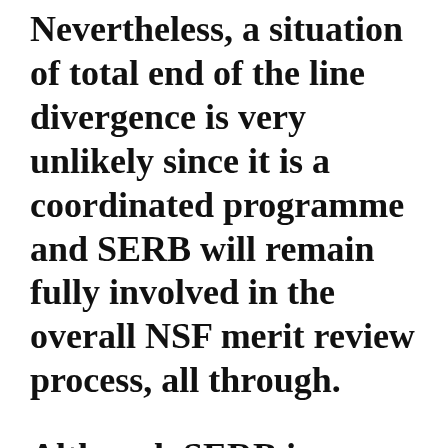Nevertheless, a situation of total end of the line divergence is very unlikely since it is a coordinated programme and SERB will remain fully involved in the overall NSF merit review process, all through.
Although SERB is flexible in terms of size and numbers of